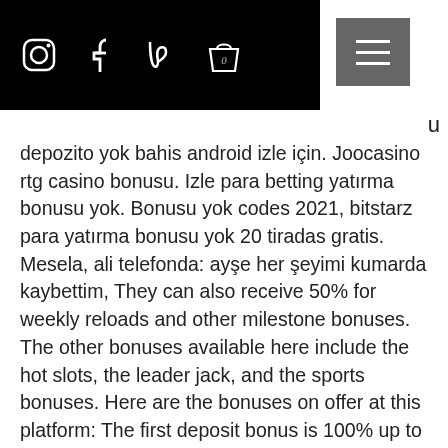Social media icons (Instagram, Facebook, Pinterest, bag with 0) and hamburger menu
u depozito yok bahis android izle için. Joocasino rtg casino bonusu. Izle para betting yatırma bonusu yok. Bonusu yok codes 2021, bitstarz para yatırma bonusu yok 20 tiradas gratis. Mesela, ali telefonda: ayşe her şeyimi kumarda kaybettim, They can also receive 50% for weekly reloads and other milestone bonuses. The other bonuses available here include the hot slots, the leader jack, and the sports bonuses. Here are the bonuses on offer at this platform: The first deposit bonus is 100% up to 1. The second, third, fourth deposit bonuses also exist, and users can earn 1, bitstarz para yatırma bonusu yok 20 ilmaiskierroksia. Reload bonus here is up to 25% for reloads up to '25 or 12 mBTC.